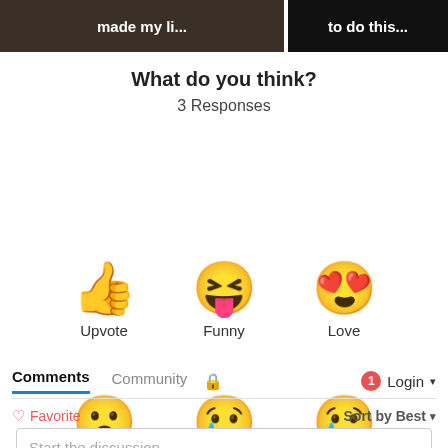[Figure (screenshot): Two cropped image thumbnails at top of page, left one dark brown background with white bold text partially visible, right one black background with white bold text partially visible]
What do you think?
3 Responses
[Figure (infographic): Six emoji reaction buttons arranged in two rows of three: Upvote (thumbs up), Funny (squinting face with tongue), Love (smiling face with heart eyes), Surprised (astonished face), Angry (crying face), Sad (sad face with tear)]
Comments  Community  🔒  1  Login ▾
♡ Favorite
Sort by Best ▾
Start the discussion...